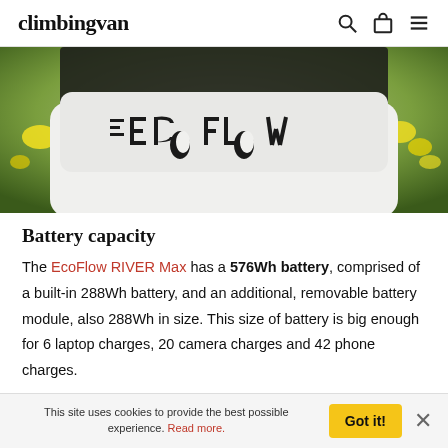climbingvan
[Figure (photo): Close-up photo of an EcoFlow device with the ECOFLOW logo visible on the white casing, set against a blurred outdoor background with yellow flowers and greenery.]
Battery capacity
The EcoFlow RIVER Max has a 576Wh battery, comprised of a built-in 288Wh battery, and an additional, removable battery module, also 288Wh in size. This size of battery is big enough for 6 laptop charges, 20 camera charges and 42 phone charges.
This site uses cookies to provide the best possible experience. Read more.